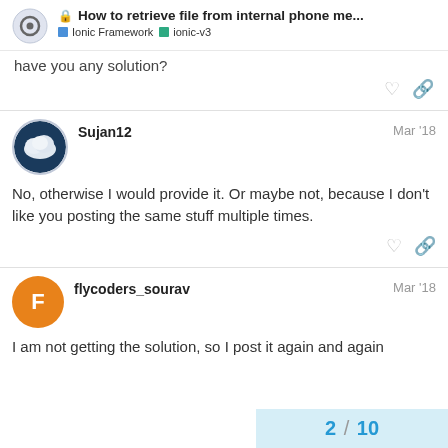How to retrieve file from internal phone me... | Ionic Framework | ionic-v3
have you any solution?
Sujan12  Mar '18
No, otherwise I would provide it. Or maybe not, because I don't like you posting the same stuff multiple times.
flycoders_sourav  Mar '18
I am not getting the solution, so I post it again and again
2 / 10